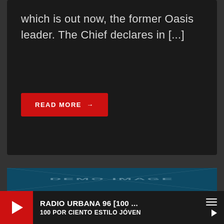which is out now, the former Oasis leader. The Chief declares in [...]
READ MORE →
[Figure (illustration): Demo image placeholder with diagonal X lines and 'DEMO IMAGE' text on a dark teal background]
RADIO URBANA 96 [100 ... | 100 POR CIENTO ESTILO JÓVEN